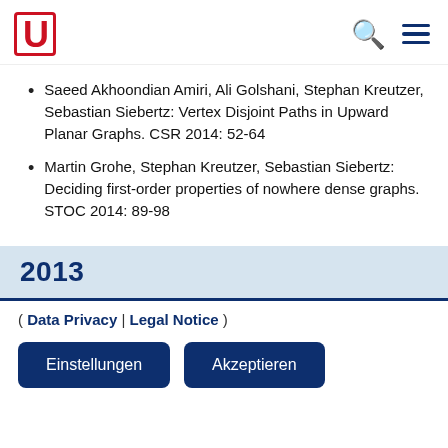U [logo] [search icon] [menu icon]
Saeed Akhoondian Amiri, Ali Golshani, Stephan Kreutzer, Sebastian Siebertz: Vertex Disjoint Paths in Upward Planar Graphs. CSR 2014: 52-64
Martin Grohe, Stephan Kreutzer, Sebastian Siebertz: Deciding first-order properties of nowhere dense graphs. STOC 2014: 89-98
2013
( Data Privacy | Legal Notice )
Einstellungen  Akzeptieren